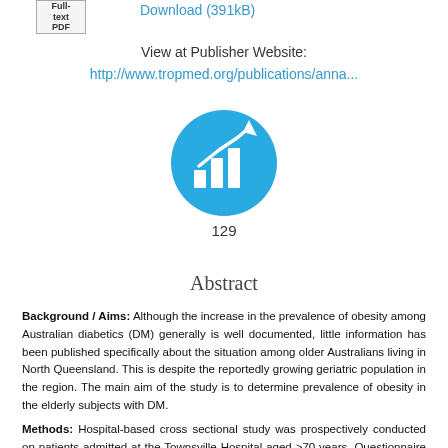[Figure (logo): PDF icon button with border]
Download (391kB)
View at Publisher Website:
http://www.tropmed.org/publications/anna...
[Figure (infographic): Blue circular icon with a bar chart and upward arrow graphic, showing metrics count 129]
Abstract
Background / Aims: Although the increase in the prevalence of obesity among Australian diabetics (DM) generally is well documented, little information has been published specifically about the situation among older Australians living in North Queensland. This is despite the reportedly growing geriatric population in the region. The main aim of the study is to determine prevalence of obesity in the elderly subjects with DM.
Methods: Hospital-based cross sectional study was prospectively conducted on patients admitted at the Townsville Hospital aged >70 years. Questionnaire was administered and